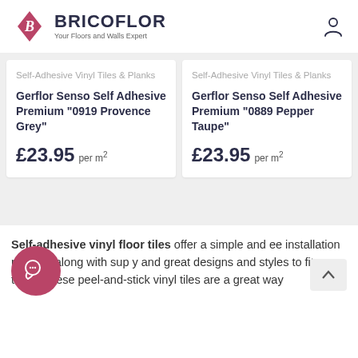[Figure (logo): Bricoflor logo with pink diamond shape containing stylized B, bold text BRICOFLOR, tagline Your Floors and Walls Expert]
Self-Adhesive Vinyl Tiles & Planks
Gerflor Senso Self Adhesive Premium "0919 Provence Grey"
£23.95 per m²
Self-Adhesive Vinyl Tiles & Planks
Gerflor Senso Self Adhesive Premium "0889 Pepper Taupe"
£23.95 per m²
Self-adhesive vinyl floor tiles offer a simple and free installation process along with sup y and great designs and styles to fit ar taste. These peel-and-stick vinyl tiles are a great way